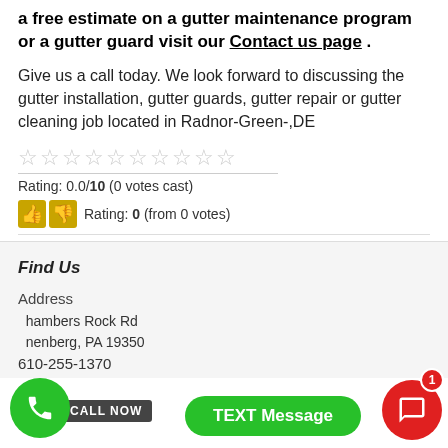a free estimate on a gutter maintenance program or a gutter guard visit our Contact us page .
Give us a call today. We look forward to discussing the gutter installation, gutter guards, gutter repair or gutter cleaning job located in Radnor-Green-,DE
[Figure (other): 10 empty/unfilled star rating icons in a row]
Rating: 0.0/10 (0 votes cast)
Rating: 0 (from 0 votes)
Find Us
Address
Chambers Rock Rd
Greenenberg, PA 19350
610-255-1370
[Figure (other): Floating UI: green phone call button with CALL NOW label, green TEXT Message button, red SMS button with badge showing 1]